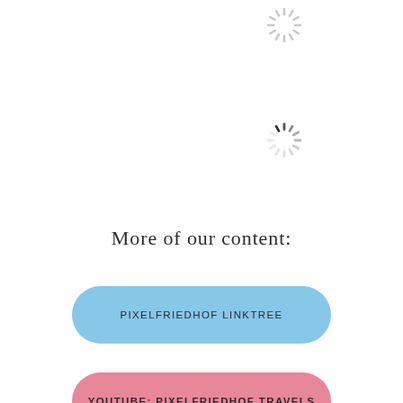[Figure (illustration): Three loading spinner icons in light gray and dark gray positioned at top-left, top-right, and center-left of the page]
More of our content:
PIXELFRIEDHOF LINKTREE
YOUTUBE: PIXELFRIEDHOF TRAVELS